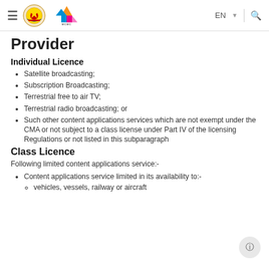MCMC Government portal header with hamburger menu, government crest logo, MCMC logo, EN language selector, and search icon
Provider
Individual Licence
Satellite broadcasting;
Subscription Broadcasting;
Terrestrial free to air TV;
Terrestrial radio broadcasting; or
Such other content applications services which are not exempt under the CMA or not subject to a class license under Part IV of the licensing Regulations or not listed in this subparagraph
Class Licence
Following limited content applications service:-
Content applications service limited in its availability to:-
vehicles, vessels, railway or aircraft